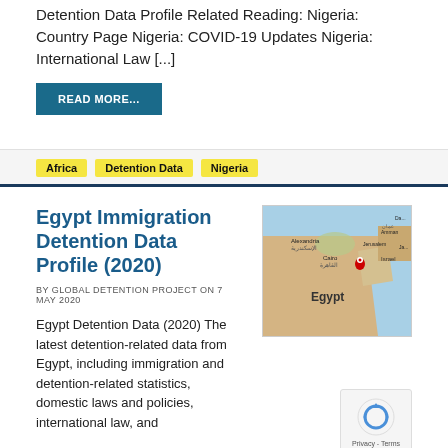Detention Data Profile Related Reading: Nigeria: Country Page Nigeria: COVID-19 Updates Nigeria: International Law [...]
READ MORE...
Africa
Detention Data
Nigeria
Egypt Immigration Detention Data Profile (2020)
BY GLOBAL DETENTION PROJECT ON 7 MAY 2020
[Figure (map): Map showing Egypt and surrounding region including Alexandria, Cairo, Jerusalem, Amman, and Israel with a red location pin marker.]
Egypt Detention Data (2020) The latest detention-related data from Egypt, including immigration and detention-related statistics, domestic laws and policies, international law, and